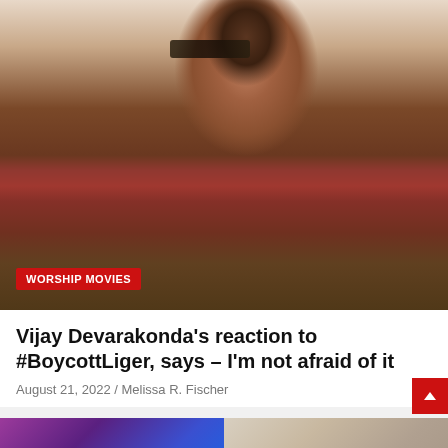[Figure (photo): Photo of actor Vijay Devarakonda wearing aviator sunglasses and a red leather jacket, smiling, with a light background]
WORSHIP MOVIES
Vijay Devarakonda's reaction to #BoycottLiger, says – I'm not afraid of it
August 21, 2022 / Melissa R. Fischer
[Figure (photo): Two thumbnail images side by side at the bottom: left shows a colorful event with text '25TH A...' in cyan, right shows people in an indoor setting]